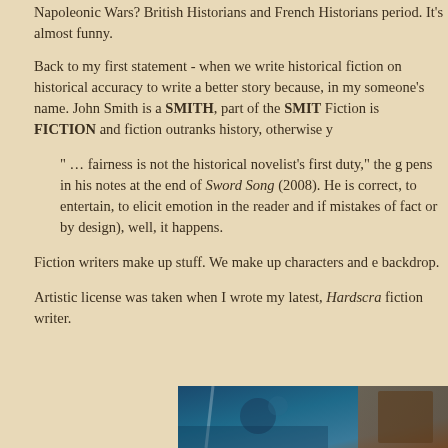Napoleonic Wars? British Historians and French Historians period. It's almost funny.
Back to my first statement - when we write historical fiction on historical accuracy to write a better story because, in my someone's name. John Smith is a SMITH, part of the SMIT Fiction is FICTION and fiction outranks history, otherwise y
" … fairness is not the historical novelist's first duty," the g pens in his notes at the end of Sword Song (2008). He is correct, to entertain, to elicit emotion in the reader and if mistakes of fact or by design), well, it happens.
Fiction writers make up stuff. We make up characters and e backdrop.
Artistic license was taken when I wrote my latest, Hardscra fiction writer.
[Figure (photo): Partial view of a photo showing blue tones, possibly a book cover or scene related to the novel Hardscrabble mentioned in the text.]